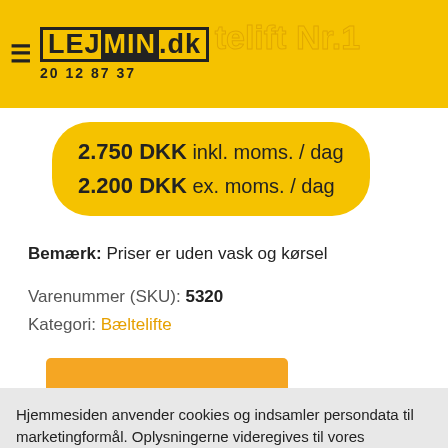LEJmin.dk 20 12 87 37 — Bæltetelift Nr.1
2.750 DKK inkl. moms. / dag
2.200 DKK ex. moms. / dag
Bemærk: Priser er uden vask og kørsel
Varenummer (SKU): 5320
Kategori: Bæltelifte
Hjemmesiden anvender cookies og indsamler persondata til marketingformål. Oplysningerne videregives til vores samarbejdspartnere ifm. statistik. Klik "Accepter alle" for at fortsætte eller "Cookie indstillinger" for ændre indstillinger.
Cookie indstillinger
Accepter alle